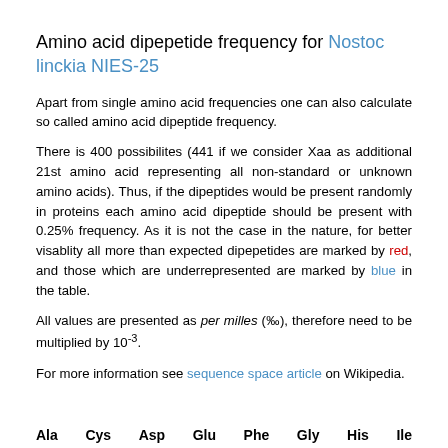Amino acid dipepetide frequency for Nostoc linckia NIES-25
Apart from single amino acid frequencies one can also calculate so called amino acid dipeptide frequency.
There is 400 possibilites (441 if we consider Xaa as additional 21st amino acid representing all non-standard or unknown amino acids). Thus, if the dipeptides would be present randomly in proteins each amino acid dipeptide should be present with 0.25% frequency. As it is not the case in the nature, for better visablity all more than expected dipepetides are marked by red, and those which are underrepresented are marked by blue in the table.
All values are presented as per milles (‰), therefore need to be multiplied by 10-3.
For more information see sequence space article on Wikipedia.
| Ala | Cys | Asp | Glu | Phe | Gly | His | Ile |
| --- | --- | --- | --- | --- | --- | --- | --- |